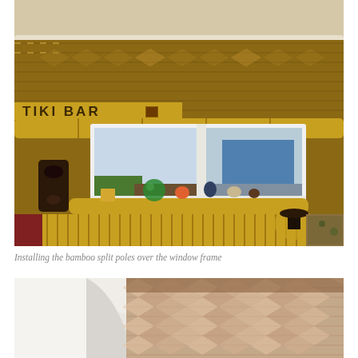[Figure (photo): Interior photo of a tiki bar room showing a double window with white frame, bamboo split poles installed over and below the window frame, woven grass/bamboo wall covering, decorative items on the windowsill including a green glass globe, small figurines, and shells. A 'TIKI BAR' sign is visible on the upper left. A dark tiki mask hangs on the left wall. A lamp and tropical-print furniture are visible in the lower right.]
Installing the bamboo split poles over the window frame
[Figure (photo): Close-up partial photo showing a white wall or ceiling trim/molding on the left side and a woven bamboo/grass mat wall covering in pinkish-tan tones on the right, showing the diagonal woven pattern.]